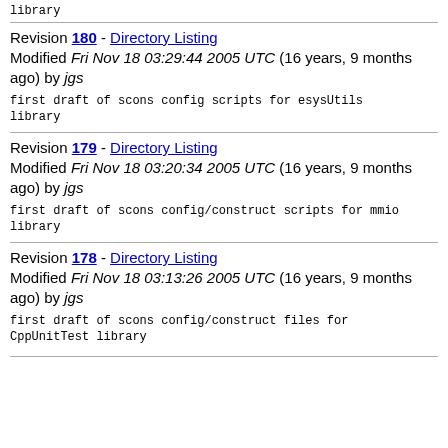library
Revision 180 - Directory Listing
Modified Fri Nov 18 03:29:44 2005 UTC (16 years, 9 months ago) by jgs
first draft of scons config scripts for esysUtils library
Revision 179 - Directory Listing
Modified Fri Nov 18 03:20:34 2005 UTC (16 years, 9 months ago) by jgs
first draft of scons config/construct scripts for mmio library
Revision 178 - Directory Listing
Modified Fri Nov 18 03:13:26 2005 UTC (16 years, 9 months ago) by jgs
first draft of scons config/construct files for CppUnitTest library